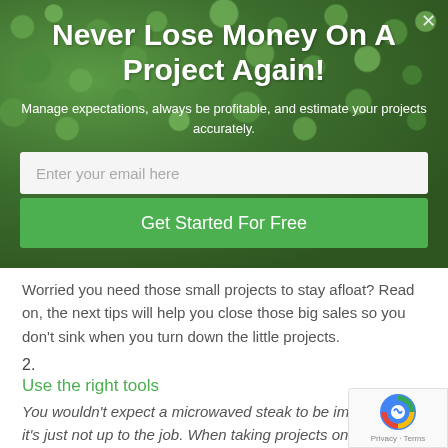Never Lose Money On A Project Again!
Manage expectations, always be profitable, and estimate your projects accurately.
Enter your email here
Get Started For Free
Worried you need those small projects to stay afloat? Read on, the next tips will help you close those big sales so you don't sink when you turn down the little projects.
2.
Use the right tools
You wouldn't expect a microwaved steak to be impressive, it's just not up to the job. When taking projects on at your digital agency, know that the quality